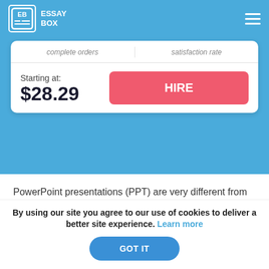[Figure (screenshot): EssayBox website screenshot showing logo, hamburger menu, writer card with price and hire button, body text, and cookie consent banner]
complete orders
satisfaction rate
Starting at:
$28.29
HIRE
PowerPoint presentations (PPT) are very different from the traditional essay writing. It's not a surprise that students who don't have much experience with presentations and aren't
By using our site you agree to our use of cookies to deliver a better site experience. Learn more
GOT IT